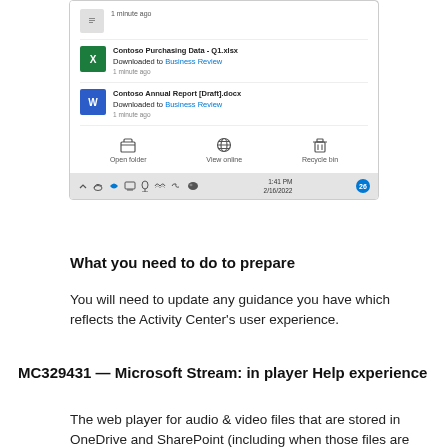[Figure (screenshot): Windows 11 system tray notification popup showing OneDrive activity: 'Contoso Purchasing Data - Q1.xlsx Downloaded to Business Review 1 minute ago' and 'Contoso Annual Report [Draft].docx Downloaded to Business Review 1 minute ago', with action buttons Open folder, View online, Recycle bin. Windows taskbar visible at bottom with time 1:41 PM 2/16/2022.]
What you need to do to prepare
You will need to update any guidance you have which reflects the Activity Center's user experience.
MC329431 — Microsoft Stream: in player Help experience
The web player for audio & video files that are stored in OneDrive and SharePoint (including when those files are embedded in Teams). You can now also